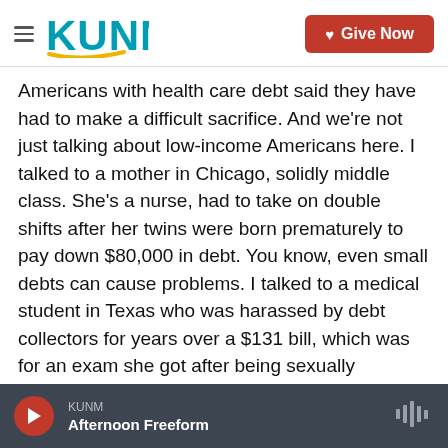KUNM | Give Now
Americans with health care debt said they have had to make a difficult sacrifice. And we're not just talking about low-income Americans here. I talked to a mother in Chicago, solidly middle class. She's a nurse, had to take on double shifts after her twins were born prematurely to pay down $80,000 in debt. You know, even small debts can cause problems. I talked to a medical student in Texas who was harassed by debt collectors for years over a $131 bill, which was for an exam she got after being sexually assaulted.
KELLY: Oh, gosh. Yeah, OK.
KUNM | Afternoon Freeform